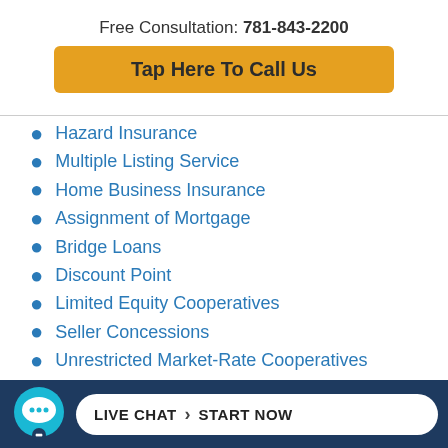Free Consultation: 781-843-2200
[Figure (other): Gold/amber button with text 'Tap Here To Call Us']
Hazard Insurance
Multiple Listing Service
Home Business Insurance
Assignment of Mortgage
Bridge Loans
Discount Point
Limited Equity Cooperatives
Seller Concessions
Unrestricted Market-Rate Cooperatives
LIVE CHAT > START NOW